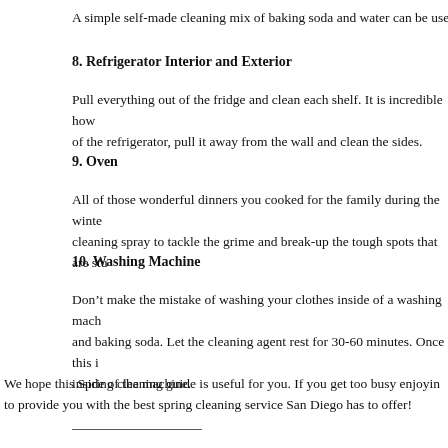A simple self-made cleaning mix of baking soda and water can be used to
8. Refrigerator Interior and Exterior
Pull everything out of the fridge and clean each shelf. It is incredible how of the refrigerator, pull it away from the wall and clean the sides.
9. Oven
All of those wonderful dinners you cooked for the family during the winte cleaning spray to tackle the grime and break-up the tough spots that are stu
10. Washing Machine
Don’t make the mistake of washing your clothes inside of a washing mach and baking soda. Let the cleaning agent rest for 30-60 minutes. Once this i inside of the machine.
We hope this Spring cleaning guide is useful for you. If you get too busy enjoyin to provide you with the best spring cleaning service San Diego has to offer!